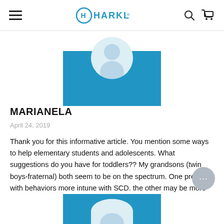HARKLA
[Figure (illustration): Blue rectangle with a circular avatar silhouette above it, representing a user profile image area]
MARIANELA
April 24, 2019
Thank you for this informative article. You mention some ways to help elementary students and adolescents. What suggestions do you have for toddlers?? My grandsons (twin boys-fraternal) both seem to be on the spectrum. One presents with behaviors more intune with SCD. the other may be more on the spectrum. Please advise. Thank you!
[Figure (illustration): Bottom portion of a blue rectangle with a circular avatar silhouette, representing another user profile image area (partially visible)]